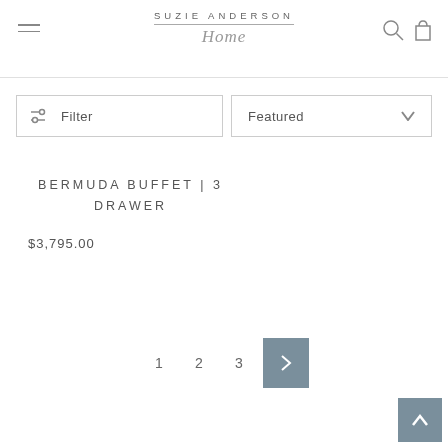SUZIE ANDERSON Home
Filter
Featured
BERMUDA BUFFET | 3 DRAWER
$3,795.00
1  2  3  >